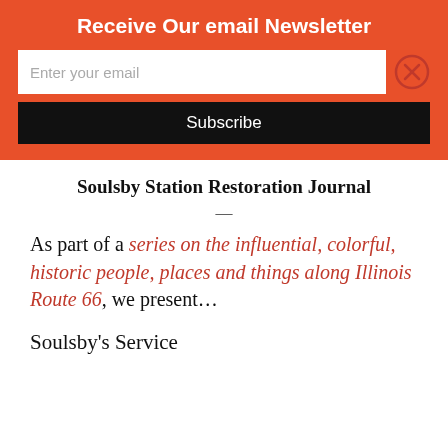Receive Our email Newsletter
Enter your email
Subscribe
Soulsby Station Restoration Journal
—
As part of a series on the influential, colorful, historic people, places and things along Illinois Route 66, we present...
Soulsby's Service